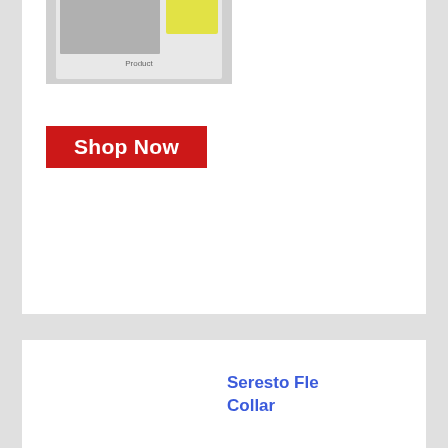[Figure (photo): Partially visible product image at top of page, appears to be a pet product with yellow and gray packaging]
[Figure (other): Red 'Shop Now' button]
[Figure (photo): Seresto Small Dog flea and tick collar product image - circular collar packaging showing a small white terrier dog, with teal/blue Seresto branding and Elanco logo]
Seresto Flea Collar
[Figure (other): Red 'Shop Now' button]
Capstar